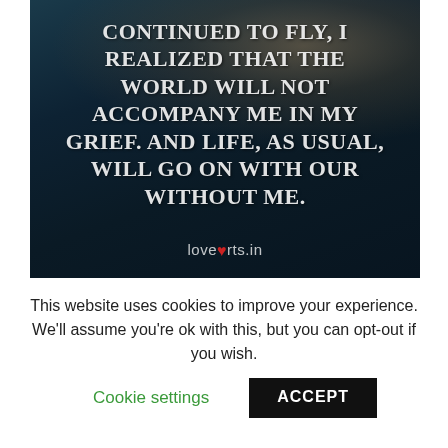[Figure (illustration): Dark moody background with a rose, overlaid with white bold serif text quote: 'CONTINUED TO FLY, I REALIZED THAT THE WORLD WILL NOT ACCOMPANY ME IN MY GRIEF. AND LIFE, AS USUAL, WILL GO ON WITH OR WITHOUT ME.' Watermark: lovehurts.in with a red broken heart icon.]
This website uses cookies to improve your experience. We'll assume you're ok with this, but you can opt-out if you wish.
Cookie settings   ACCEPT